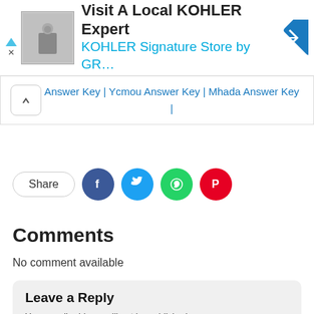[Figure (other): Advertisement banner for KOHLER: thumbnail image of bathroom fixture, text 'Visit A Local KOHLER Expert', 'KOHLER Signature Store by GR...', navigation arrow icon]
Answer Key | Ycmou Answer Key | Mhada Answer Key |
[Figure (infographic): Share button and social media icons: Facebook (blue circle), Twitter (light blue circle), WhatsApp (green circle), Pinterest (red circle)]
Comments
No comment available
Leave a Reply
Your email address will not be published.
Required fields are marked *